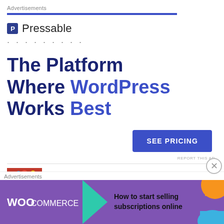Advertisements
[Figure (logo): Pressable logo with blue square icon and Pressable wordmark, followed by dotted line separator]
The Platform Where WordPress Works Best
[Figure (infographic): SEE PRICING button in blue]
REPORT THIS AD
[Figure (photo): Author photo showing a person with flowers/colorful headpiece]
JESSI @ PRACTICALLY
Advertisements
[Figure (infographic): WooCommerce banner ad: How to start selling subscriptions online, with green arrow, orange and blue decorative shapes]